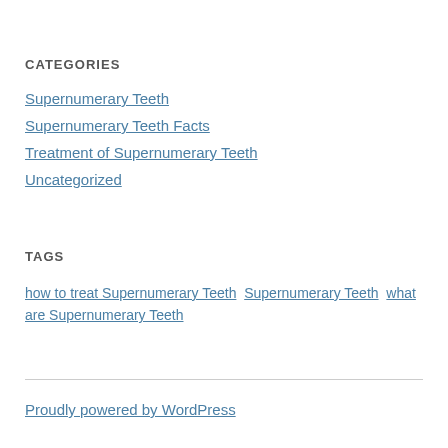CATEGORIES
Supernumerary Teeth
Supernumerary Teeth Facts
Treatment of Supernumerary Teeth
Uncategorized
TAGS
how to treat Supernumerary Teeth  Supernumerary Teeth  what are Supernumerary Teeth
Proudly powered by WordPress